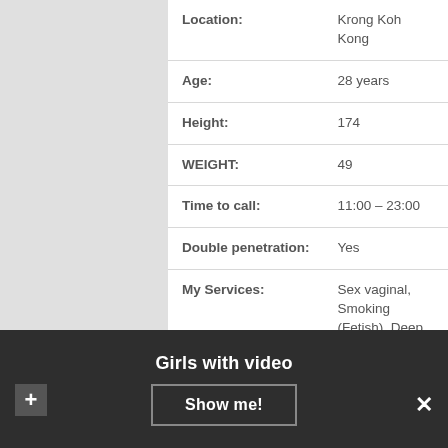| Field | Value |
| --- | --- |
| Location: | Krong Koh Kong |
| Age: | 28 years |
| Height: | 174 |
| WEIGHT: | 49 |
| Time to call: | 11:00 – 23:00 |
| Double penetration: | Yes |
| My Services: | Sex vaginal, Smoking (Fetish), Deep throating |
| Outcall: | No |
| 60 min: | 140Doll |
| Couples: | 500$ |
Girls with video
Show me!